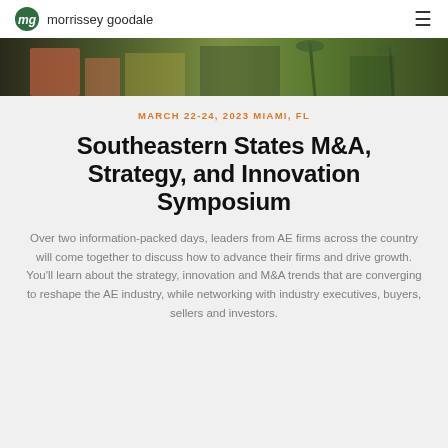morrissey goodale
[Figure (photo): Aerial/street view photo of Miami, FL showing colorful buildings and palm trees]
MARCH 22-24, 2023 MIAMI, FL
Southeastern States M&A, Strategy, and Innovation Symposium
Over two information-packed days, leaders from AE firms across the country will come together to discuss how to advance their firms and drive growth. You'll learn about the strategy, innovation and M&A trends that are converging to reshape the AE industry, while networking with industry executives, buyers, sellers and investors.